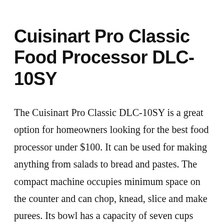Cuisinart Pro Classic Food Processor DLC-10SY
The Cuisinart Pro Classic DLC-10SY is a great option for homeowners looking for the best food processor under $100. It can be used for making anything from salads to bread and pastes. The compact machine occupies minimum space on the counter and can chop, knead, slice and make purees. Its bowl has a capacity of seven cups which is more than adequate for household usage. It comes with a chopping blade, a 4mm slicing